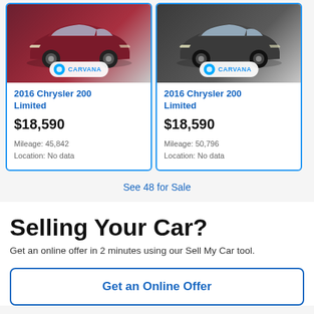[Figure (photo): Red/maroon 2016 Chrysler 200 Limited car photo with Carvana watermark]
2016 Chrysler 200 Limited
$18,590
Mileage: 45,842
Location: No data
[Figure (photo): Dark gray 2016 Chrysler 200 Limited car photo with Carvana watermark]
2016 Chrysler 200 Limited
$18,590
Mileage: 50,796
Location: No data
See 48 for Sale
Selling Your Car?
Get an online offer in 2 minutes using our Sell My Car tool.
Get an Online Offer